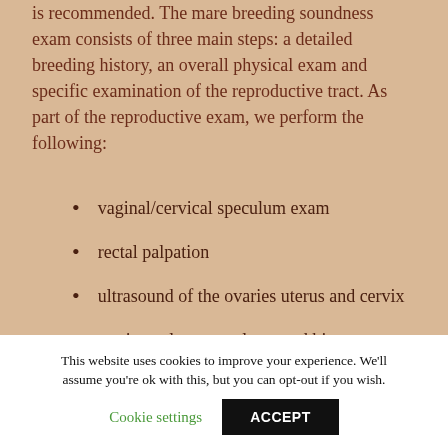is recommended. The mare breeding soundness exam consists of three main steps: a detailed breeding history, an overall physical exam and specific examination of the reproductive tract. As part of the reproductive exam, we perform the following:
vaginal/cervical speculum exam
rectal palpation
ultrasound of the ovaries uterus and cervix
uterine culture, cytology, and biopsy
This website uses cookies to improve your experience. We'll assume you're ok with this, but you can opt-out if you wish.